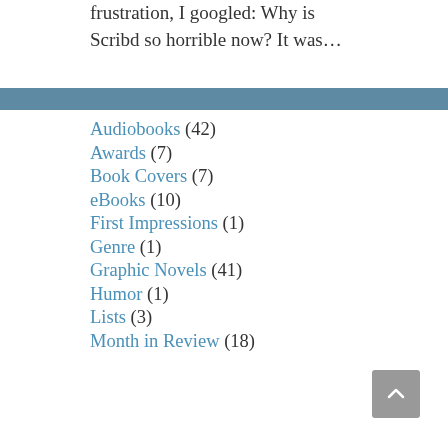frustration, I googled: Why is Scribd so horrible now? It was…
Audiobooks (42)
Awards (7)
Book Covers (7)
eBooks (10)
First Impressions (1)
Genre (1)
Graphic Novels (41)
Humor (1)
Lists (3)
Month in Review (18)